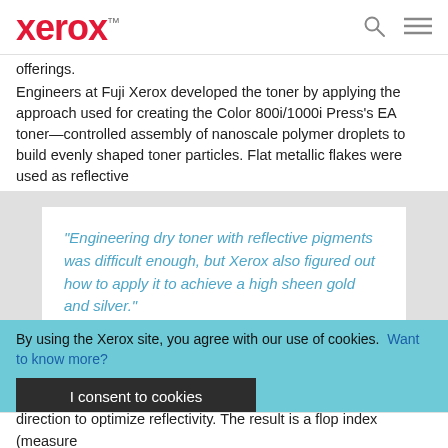xerox™
offerings.
Engineers at Fuji Xerox developed the toner by applying the approach used for creating the Color 800i/1000i Press's EA toner—controlled assembly of nanoscale polymer droplets to build evenly shaped toner particles. Flat metallic flakes were used as reflective
[Figure (other): Pull quote box on grey background: “Engineering dry toner with reflective pigments was difficult enough, but Xerox also figured out how to apply it to achieve a high sheen gold and silver.” with downward pointing callout arrow]
By using the Xerox site, you agree with our use of cookies. Want to know more?
I consent to cookies
direction to optimize reflectivity. The result is a flop index (measure